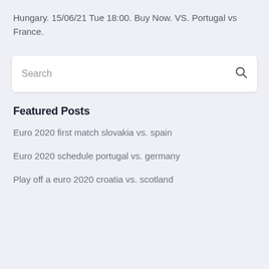Hungary. 15/06/21 Tue 18:00. Buy Now. VS. Portugal vs France.
Search
Featured Posts
Euro 2020 first match slovakia vs. spain
Euro 2020 schedule portugal vs. germany
Play off a euro 2020 croatia vs. scotland